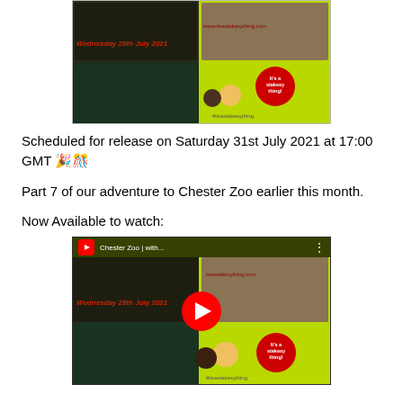[Figure (screenshot): Thumbnail image of Chester Zoo video collage showing zoo animals including leopard, panther, lion, fish tank, with green background and 'It's a stakesy thing!' branding. Text visible: 'Wednesday 28th July 2021', 'www.itsastakesything.com', '#itsastakesy thing']
Scheduled for release on Saturday 31st July 2021 at 17:00 GMT 🎉🎊
Part 7 of our adventure to Chester Zoo earlier this month.
Now Available to watch:
[Figure (screenshot): YouTube video thumbnail for 'Chester Zoo | with...' video showing the same zoo collage with animals, green background, 'It's a stakesy thing!' branding, and a large red YouTube play button overlay in the center.]